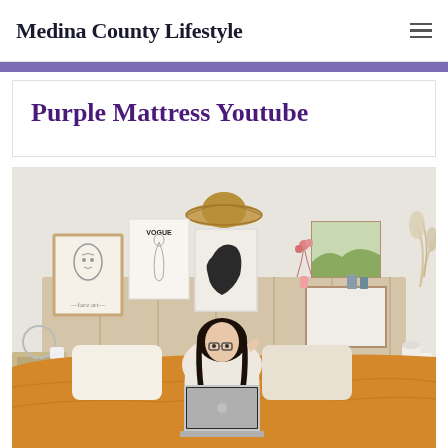Medina County Lifestyle
Purple Mattress Youtube
[Figure (photo): Young woman with glasses sitting on a bed with golden/yellow bedding, using a laptop. Bedroom decorated with framed art prints including a Vogue poster, a straw hat on the wall, pampas grass, and various home decor items.]